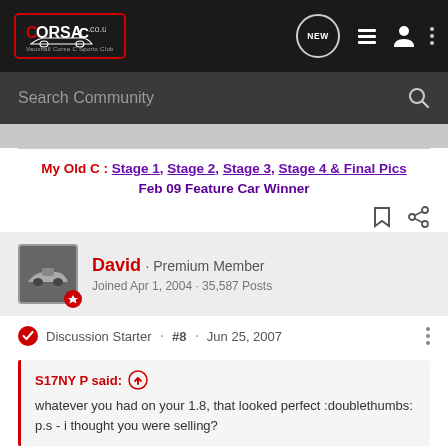CORSA-C.co.uk — Vauxhall Corsa C Sports Club
Search Community
My Old C : Stage 1, Stage 2, Stage 3, Stage 4 & Final Pics
Feb 09 Feature Car Winner
David · Premium Member
Joined Apr 1, 2004 · 35,587 Posts
Discussion Starter · #8 · Jun 25, 2007
S17NY P said:
whatever you had on your 1.8, that looked perfect :doublethumbs:
p.s - i thought you were selling?